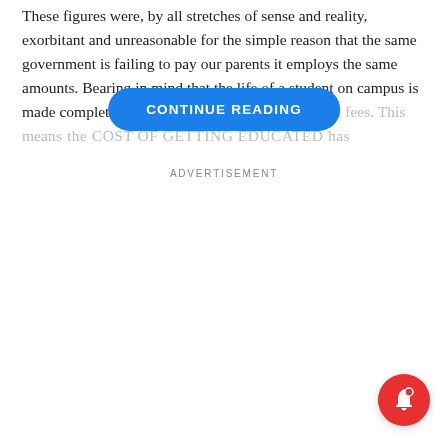These figures were, by all stretches of sense and reality, exorbitant and unreasonable for the simple reason that the same government is failing to pay our parents it employs the same amounts. Bearing in mind that the life of a student on campus is made complete by... paid exorbitant fees. This means the COST OF GETTING EDUCATED has...
[Figure (other): A blue rounded rectangle button labeled CONTINUE READING overlaid on the article text]
ADVERTISEMENT
[Figure (other): Red circular notification bell icon in the bottom-right corner of the screen]